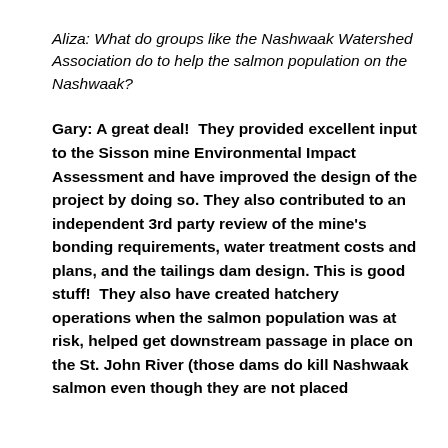Aliza: What do groups like the Nashwaak Watershed Association do to help the salmon population on the Nashwaak?
Gary: A great deal!  They provided excellent input to the Sisson mine Environmental Impact Assessment and have improved the design of the project by doing so. They also contributed to an independent 3rd party review of the mine's bonding requirements, water treatment costs and plans, and the tailings dam design. This is good stuff!  They also have created hatchery operations when the salmon population was at risk, helped get downstream passage in place on the St. John River (those dams do kill Nashwaak salmon even though they are not placed